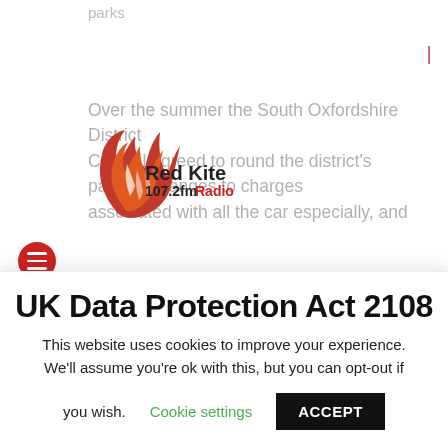parks
[Figure (logo): Red Kite 107.2fm Radio logo with flame bird graphic]
Over the summer the South Oxfordshire District Council agreed to round the district's parking changes to charges associated with all the car especially, and measures designed to encourage the use of electric vehicles in order help tackle the climate emergency by reducing emissions.
The council is now giving people the chance to have their say before the new parking policy is finalised in early 2021. The council will also seek comments from
UK Data Protection Act 2108
This website uses cookies to improve your experience. We'll assume you're ok with this, but you can opt-out if you wish.
Cookie settings
ACCEPT